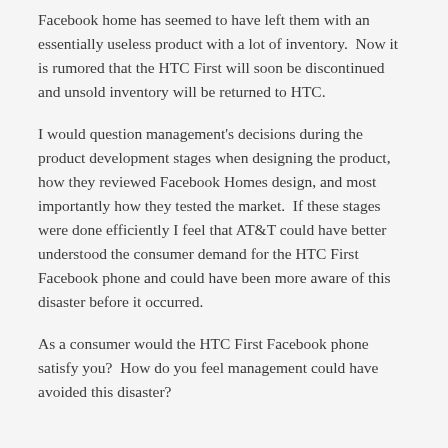Facebook home has seemed to have left them with an essentially useless product with a lot of inventory.  Now it is rumored that the HTC First will soon be discontinued and unsold inventory will be returned to HTC.
I would question management's decisions during the product development stages when designing the product, how they reviewed Facebook Homes design, and most importantly how they tested the market.  If these stages were done efficiently I feel that AT&T could have better understood the consumer demand for the HTC First Facebook phone and could have been more aware of this disaster before it occurred.
As a consumer would the HTC First Facebook phone satisfy you?  How do you feel management could have avoided this disaster?